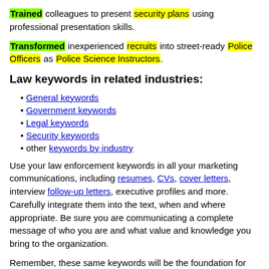Trained colleagues to present security plans using professional presentation skills.
Transformed inexperienced recruits into street-ready Police Officers as Police Science Instructors.
Law keywords in related industries:
General keywords
Government keywords
Legal keywords
Security keywords
other keywords by industry
Use your law enforcement keywords in all your marketing communications, including resumes, CVs, cover letters, interview follow-up letters, executive profiles and more. Carefully integrate them into the text, when and where appropriate. Be sure you are communicating a complete message of who you are and what value and knowledge you bring to the organization.
Remember, these same keywords will be the foundation for your interviews. You need to be able to write about your keywords, but also you must be able to verbally communicate about them as well, in strong and powerful statements that highlight your successes.